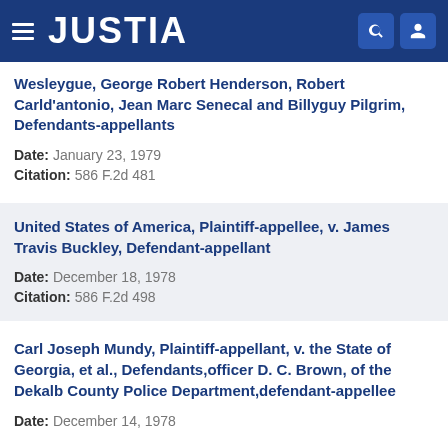JUSTIA
Wesleygue, George Robert Henderson, Robert Carld'antonio, Jean Marc Senecal and Billyguy Pilgrim, Defendants-appellants
Date: January 23, 1979
Citation: 586 F.2d 481
United States of America, Plaintiff-appellee, v. James Travis Buckley, Defendant-appellant
Date: December 18, 1978
Citation: 586 F.2d 498
Carl Joseph Mundy, Plaintiff-appellant, v. the State of Georgia, et al., Defendants,officer D. C. Brown, of the Dekalb County Police Department,defendant-appellee
Date: December 14, 1978